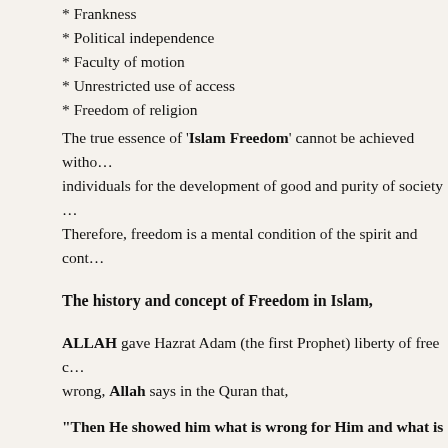* Frankness
* Political independence
* Faculty of motion
* Unrestricted use of access
* Freedom of religion
The true essence of 'Islam Freedom' cannot be achieved without individuals for the development of good and purity of society. Therefore, freedom is a mental condition of the spirit and cont...
The history and concept of Freedom in Islam,
ALLAH gave Hazrat Adam (the first Prophet) liberty of free choice of wrong, Allah says in the Quran that,
"Then He showed him what is wrong for Him and what is right...
This verse reflects that freedom is equally a shared goal of human none violates Freedom of other people. The second basic objective expression is human honour and dignity. As the famous scholar Hashim Kamali states in his Book,